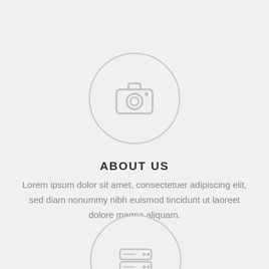[Figure (illustration): A circular icon with a camera symbol inside, light gray border on light gray background]
ABOUT US
Lorem ipsum dolor sit amet, consectetuer adipiscing elit, sed diam nonummy nibh euismod tincidunt ut laoreet dolore magna aliquam.
[Figure (illustration): A circular icon with a hard drive / server symbol inside, light gray border on light gray background, partially cropped at bottom of page]